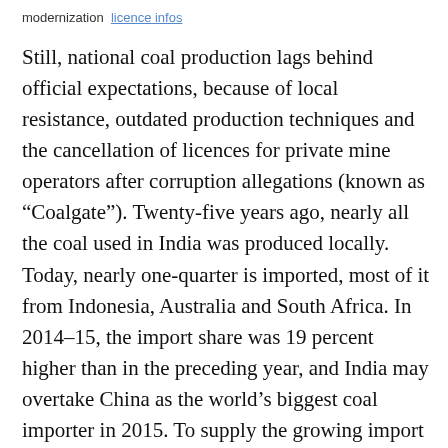modernization · licence infos
Still, national coal production lags behind official expectations, because of local resistance, outdated production techniques and the cancellation of licences for private mine operators after corruption allegations (known as “Coalgate”). Twenty-five years ago, nearly all the coal used in India was produced locally. Today, nearly one-quarter is imported, most of it from Indonesia, Australia and South Africa. In 2014–15, the import share was 19 percent higher than in the preceding year, and India may overtake China as the world’s biggest coal importer in 2015. To supply the growing import market, Indian companies have gone global. For example, the Adani company, which operates a coal power plant and India’s largest coal port in Mundra, Gujarat, wants to invest in large-scale mining in the Galilee Basin in